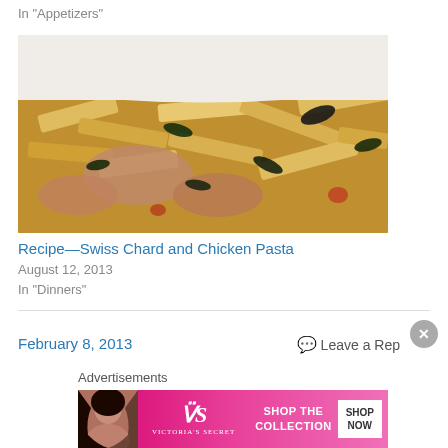In "Appetizers"
[Figure (photo): Close-up photo of Swiss chard and chicken pasta dish with penne pasta, green leafy chard, and pieces of chicken]
Recipe—Swiss Chard and Chicken Pasta
August 12, 2013
In "Dinners"
February 8, 2013
Leave a Reply
Advertisements
[Figure (photo): Victoria's Secret advertisement banner with model, VS logo, 'SHOP THE COLLECTION' text and 'SHOP NOW' button]